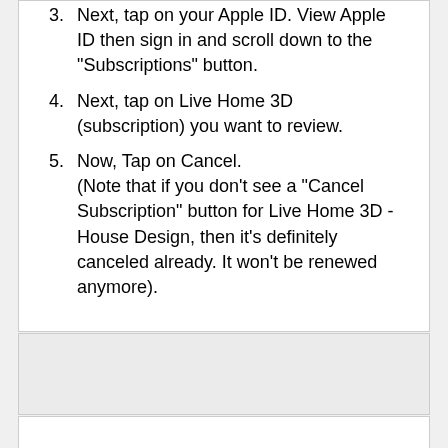3. Next, tap on your Apple ID. View Apple ID then sign in and scroll down to the "Subscriptions" button.
4. Next, tap on Live Home 3D (subscription) you want to review.
5. Now, Tap on Cancel. (Note that if you don't see a "Cancel Subscription" button for Live Home 3D - House Design, then it's definitely canceled already. It won't be renewed anymore).